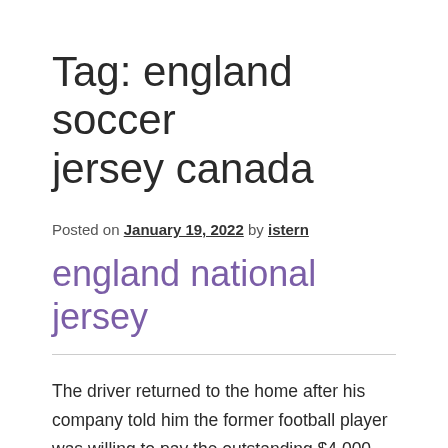Tag: england soccer jersey canada
Posted on January 19, 2022 by istern
england national jersey
The driver returned to the home after his company told him the former football player was willing to pay the outstanding $4,000, and an extra $860 for the vehicle damage and the driver's extra time. In Dublin, 500,000 people came out to greet Jack's heroes when they